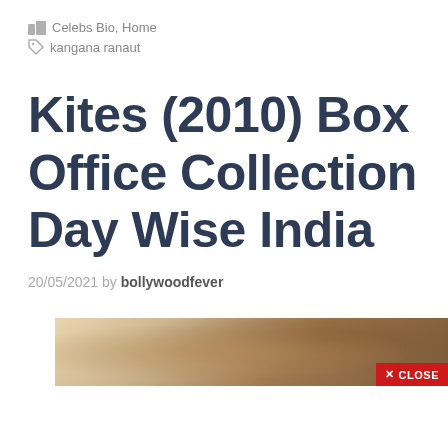Celebs Bio, Home
kangana ranaut
Kites (2010) Box Office Collection Day Wise India
20/05/2021 by bollywoodfever
[Figure (photo): Partial movie/promotional image, partially visible at bottom of page]
✕ CLOSE